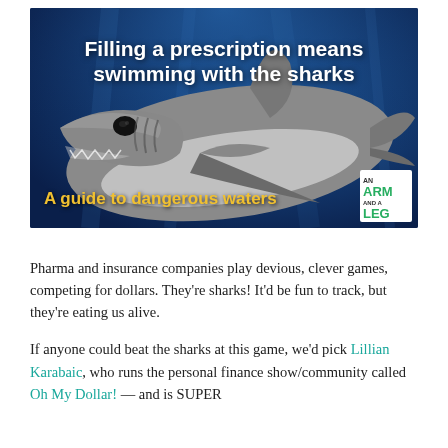[Figure (photo): Hero image of a shark underwater with blue background. White bold text overlay at top reads 'Filling a prescription means swimming with the sharks'. Yellow bold text at bottom reads 'A guide to dangerous waters'. An 'An Arm and a Leg' podcast logo is in the bottom-right corner.]
Pharma and insurance companies play devious, clever games, competing for dollars. They're sharks! It'd be fun to track, but they're eating us alive.
If anyone could beat the sharks at this game, we'd pick Lillian Karabaic, who runs the personal finance show/community called Oh My Dollar! — and is SUPER on top of her stuff.